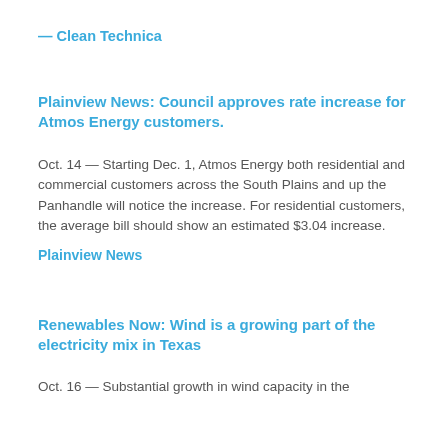— Clean Technica
Plainview News: Council approves rate increase for Atmos Energy customers.
Oct. 14 — Starting Dec. 1, Atmos Energy both residential and commercial customers across the South Plains and up the Panhandle will notice the increase. For residential customers, the average bill should show an estimated $3.04 increase.
Plainview News
Renewables Now: Wind is a growing part of the electricity mix in Texas
Oct. 16 — Substantial growth in wind capacity in the